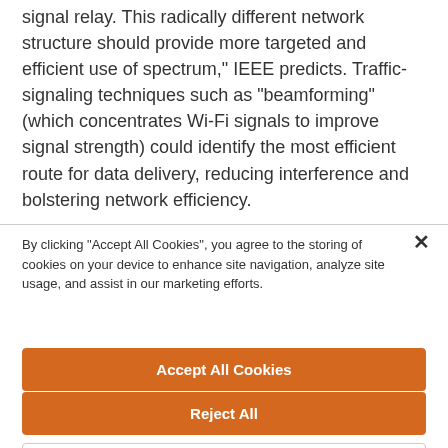signal relay. This radically different network structure should provide more targeted and efficient use of spectrum," IEEE predicts. Traffic-signaling techniques such as "beamforming" (which concentrates Wi-Fi signals to improve signal strength) could identify the most efficient route for data delivery, reducing interference and bolstering network efficiency.
By clicking "Accept All Cookies", you agree to the storing of cookies on your device to enhance site navigation, analyze site usage, and assist in our marketing efforts.
Accept All Cookies
Reject All
Cookies Settings